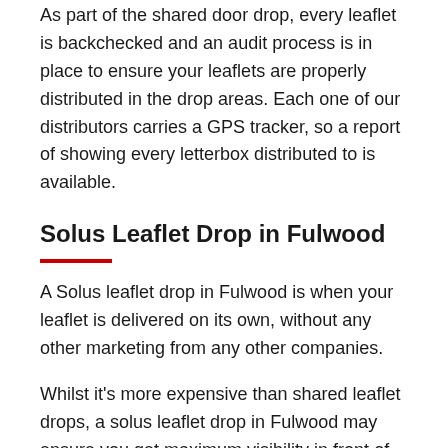As part of the shared door drop, every leaflet is backchecked and an audit process is in place to ensure your leaflets are properly distributed in the drop areas. Each one of our distributors carries a GPS tracker, so a report of showing every letterbox distributed to is available.
Solus Leaflet Drop in Fulwood
A Solus leaflet drop in Fulwood is when your leaflet is delivered on its own, without any other marketing from any other companies.
Whilst it's more expensive than shared leaflet drops, a solus leaflet drop in Fulwood may ensure you get maximum visibility in front of your target customer by being the only leaflet put through their door.
As a bonus, a solus drop is...